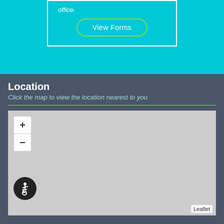office.
View Forms
Location
Click the map to view the location nearest to you
[Figure (map): Interactive map with zoom controls (+/-) and an accessibility icon in the bottom-left corner. The map area is gray/blank. A 'Leaflet' attribution badge appears in the bottom-right corner.]